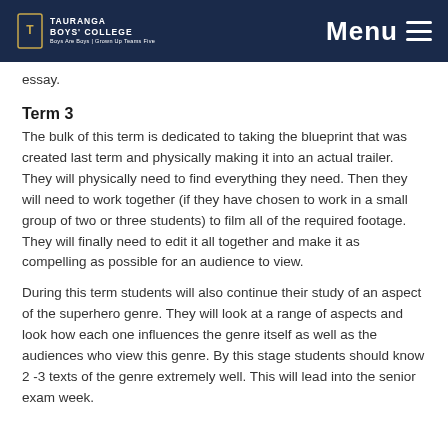Tauranga Boys' College — Menu
essay.
Term 3
The bulk of this term is dedicated to taking the blueprint that was created last term and physically making it into an actual trailer. They will physically need to find everything they need. Then they will need to work together (if they have chosen to work in a small group of two or three students) to film all of the required footage. They will finally need to edit it all together and make it as compelling as possible for an audience to view.
During this term students will also continue their study of an aspect of the superhero genre. They will look at a range of aspects and look how each one influences the genre itself as well as the audiences who view this genre. By this stage students should know 2 -3 texts of the genre extremely well. This will lead into the senior exam week.